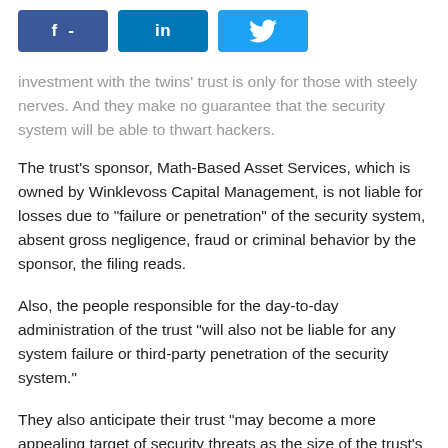[Figure (other): Social share buttons: Facebook (f -), LinkedIn (in), Twitter (bird icon)]
investment with the twins' trust is only for those with steely nerves. And they make no guarantee that the security system will be able to thwart hackers.
The trust's sponsor, Math-Based Asset Services, which is owned by Winklevoss Capital Management, is not liable for losses due to "failure or penetration" of the security system, absent gross negligence, fraud or criminal behavior by the sponsor, the filing reads.
Also, the people responsible for the day-to-day administration of the trust "will also not be liable for any system failure or third-party penetration of the security system."
They also anticipate their trust "may become a more appealing target of security threats as the size of the trust's assets grows."
The warnings may not put off people familiar with bitcoin, which has